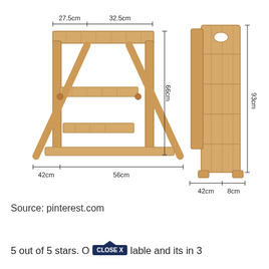[Figure (engineering-diagram): Technical diagram of a wooden folding step stool/ladder shown in two views: (1) open/unfolded position with dimensions 27.5cm and 32.5cm top width, 66cm height, 42cm and 56cm base dimensions; (2) folded position with dimensions 93cm height, 42cm width, 8cm depth.]
Source: pinterest.com
5 out of 5 stars. O[CLOSE X]lable and its in 3